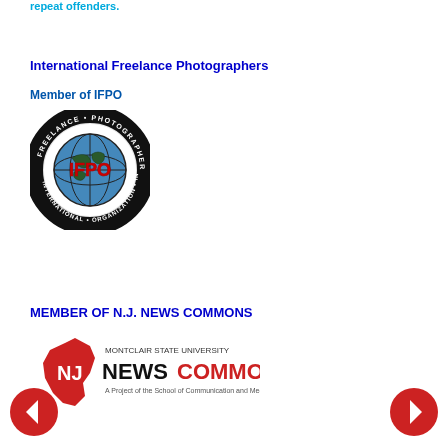repeat offenders.
International Freelance Photographers
Member of IFPO
[Figure (logo): IFPO circular badge/patch with globe and text: INTERNATIONAL FREELANCE PHOTOGRAPHERS ORGANIZATION, with IFPO in red letters at center]
MEMBER OF N.J. NEWS COMMONS
[Figure (logo): NJ News Commons logo with red NJ state silhouette, text MONTCLAIR STATE UNIVERSITY NJ NEWS COMMONS, A Project of the School of Communication and Media]
[Figure (other): Left navigation arrow button (red circle with white left arrow)]
[Figure (other): Right navigation arrow button (red circle with white right arrow)]